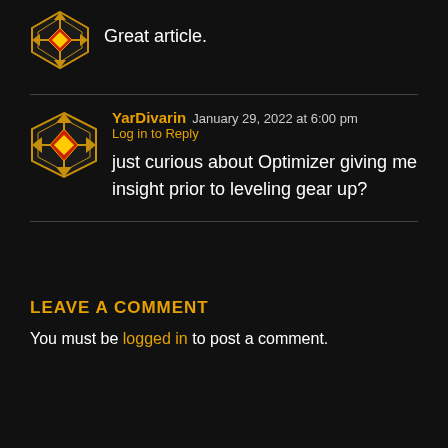Great article.
YarDivarin  January 29, 2022 at 6:00 pm  Log in to Reply
just curious about Optimizer giving me insight prior to leveling gear up?
LEAVE A COMMENT
You must be logged in to post a comment.